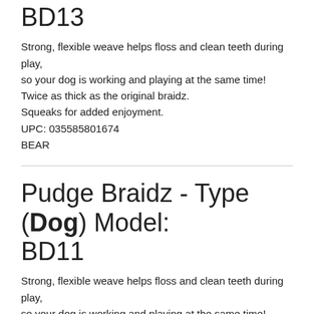BD13
Strong, flexible weave helps floss and clean teeth during play, so your dog is working and playing at the same time!
Twice as thick as the original braidz.
Squeaks for added enjoyment.
UPC: 035585801674
BEAR
Pudge Braidz - Type (Dog) Model: BD11
Strong, flexible weave helps floss and clean teeth during play, so your dog is working and playing at the same time!
Twice as thick as the original braidz.
Squeaks for added enjoyment.
UPC: 035585801599
DOG
Pudge Braidz - Type (Pig) Model: